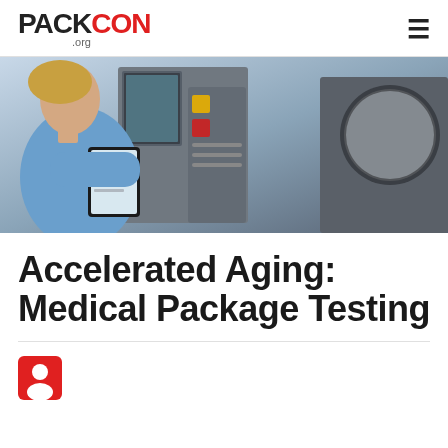PACKCON .org
[Figure (photo): A woman in a blue lab coat holding a tablet device, standing in front of industrial equipment with controls and dials.]
Accelerated Aging: Medical Package Testing
[Figure (illustration): Red square icon with a white person/author silhouette figure]